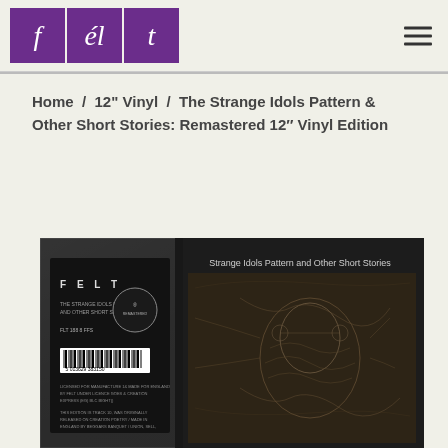f é l t — navigation header with logo and hamburger menu
Home  /  12" Vinyl  /  The Strange Idols Pattern & Other Short Stories: Remastered 12″ Vinyl Edition
[Figure (photo): Photo of a vinyl record album sleeve for 'The Strange Idols Pattern and Other Short Stories' by Felt, shown in a clear plastic sleeve with a dark/black cover featuring skeletal imagery and a label sticker on the front.]